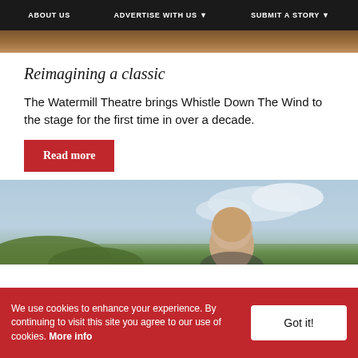ABOUT US | ADVERTISE WITH US ▾ | SUBMIT A STORY ▾
[Figure (photo): Top image strip showing outdoor/warm-toned background scene]
Reimagining a classic
The Watermill Theatre brings Whistle Down The Wind to the stage for the first time in over a decade.
Read more
[Figure (photo): Photo of a bald man against a cloudy blue sky with green foliage at the bottom]
We use cookies to enhance your experience. By continuing to visit this site you agree to our use of cookies. More info